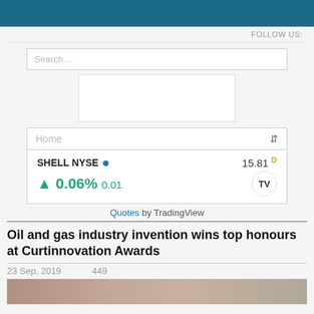FOLLOW US:
Search ...
[Figure (other): Empty advertisement/widget placeholder box]
Home
SHELL NYSE • 15.81 D ▲ 0.06% 0.01
Quotes by TradingView
Oil and gas industry invention wins top honours at Curtinnovation Awards
23 Sep, 2019   449
[Figure (photo): Partial photo of people at the bottom of the page]